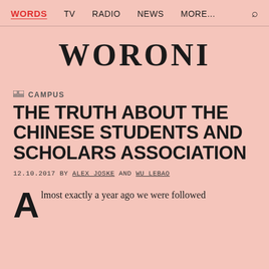WORDS  TV  RADIO  NEWS  MORE...
WORONI
CAMPUS
THE TRUTH ABOUT THE CHINESE STUDENTS AND SCHOLARS ASSOCIATION
12.10.2017 BY ALEX JOSKE AND WU LEBAO
Almost exactly a year ago we were followed